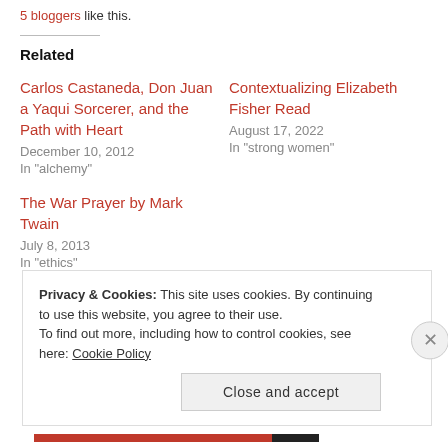5 bloggers like this.
Related
Carlos Castaneda, Don Juan a Yaqui Sorcerer, and the Path with Heart
December 10, 2012
In "alchemy"
Contextualizing Elizabeth Fisher Read
August 17, 2022
In "strong women"
The War Prayer by Mark Twain
July 8, 2013
In "ethics"
Privacy & Cookies: This site uses cookies. By continuing to use this website, you agree to their use.
To find out more, including how to control cookies, see here: Cookie Policy
Close and accept